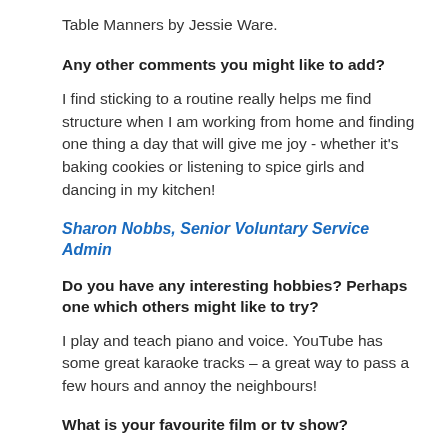Table Manners by Jessie Ware.
Any other comments you might like to add?
I find sticking to a routine really helps me find structure when I am working from home and finding one thing a day that will give me joy - whether it’s baking cookies or listening to spice girls and dancing in my kitchen!
Sharon Nobbs, Senior Voluntary Service Admin
Do you have any interesting hobbies? Perhaps one which others might like to try?
I play and teach piano and voice. YouTube has some great karaoke tracks – a great way to pass a few hours and annoy the neighbours!
What is your favourite film or tv show?
Favourite film is anything by Stephen King! Love horror